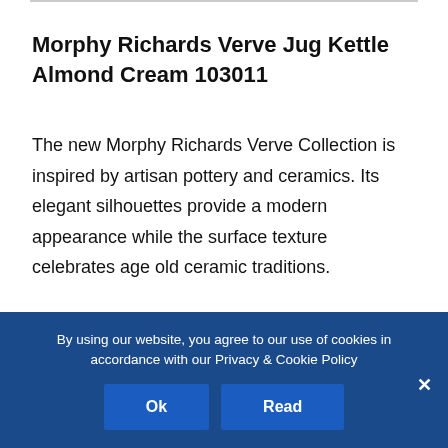Morphy Richards Verve Jug Kettle Almond Cream 103011
The new Morphy Richards Verve Collection is inspired by artisan pottery and ceramics. Its elegant silhouettes provide a modern appearance while the surface texture celebrates age old ceramic traditions.
The Verve jug kettle has a 1.7L capacity; perfect for entertaining or for large families. Using the
By using our website, you agree to our use of cookies in accordance with our Privacy & Cookie Policy